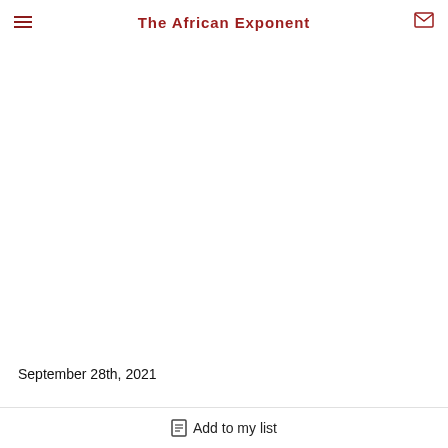The African Exponent
September 28th, 2021
Add to my list